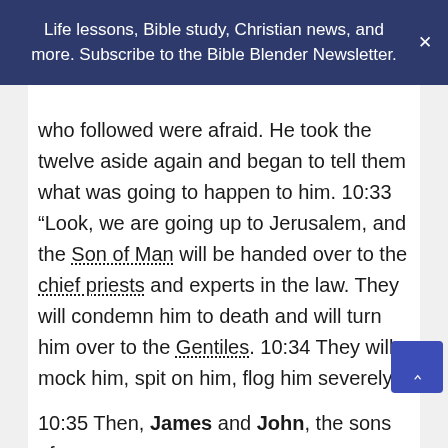Life lessons, Bible study, Christian news, and more. Subscribe to the Bible Blender Newsletter.
who followed were afraid. He took the twelve aside again and began to tell them what was going to happen to him. 10:33 “Look, we are going up to Jerusalem, and the Son of Man will be handed over to the chief priests and experts in the law. They will condemn him to death and will turn him over to the Gentiles. 10:34 They will mock him, spit on him, flog him severely, and kill him. Yet after three days, he will rise again.”
10:35 Then, James and John, the sons of